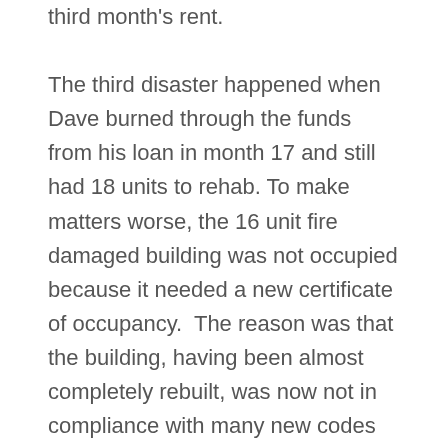third month's rent. The third disaster happened when Dave burned through the funds from his loan in month 17 and still had 18 units to rehab. To make matters worse, the 16 unit fire damaged building was not occupied because it needed a new certificate of occupancy.  The reason was that the building, having been almost completely rebuilt, was now not in compliance with many new codes including the Americans with Disabilities Act. Dave requested a second 6-month extension from his bridge lender and was denied. He was told that he had done an awful job - the